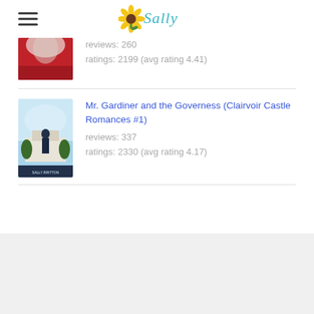Sally (logo/navigation header)
reviews: 260
ratings: 2199 (avg rating 4.41)
Mr. Gardiner and the Governess (Clairvoir Castle Romances #1)
reviews: 337
ratings: 2330 (avg rating 4.17)